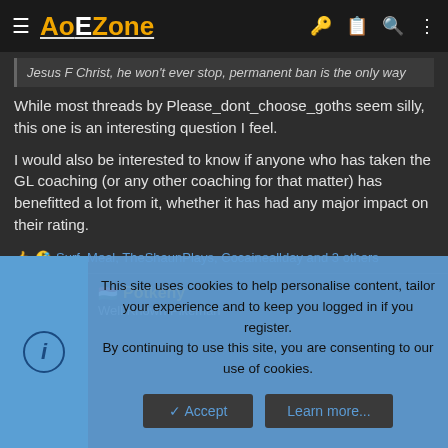AoEZone
Jesus F Christ, he won't ever stop, permanent ban is the only way
While most threads by Please_dont_choose_goths seem silly, this one is an interesting question I feel.

I would also be interested to know if anyone who has taken the GL coaching (or any other coaching for that matter) has benefitted a lot from it, whether it has had any major impact on their rating.
Surf_Meal, TheShaunPlays, Cocaineallday and 3 others
Potkeny
Well Known Pikeman
This site uses cookies to help personalise content, tailor your experience and to keep you logged in if you register.
By continuing to use this site, you are consenting to our use of cookies.